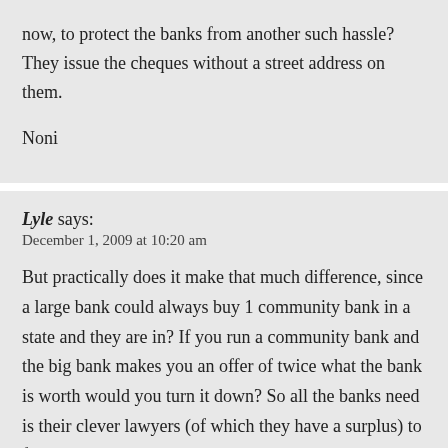now, to protect the banks from another such hassle? They issue the cheques without a street address on them.

Noni
Lyle says:
December 1, 2009 at 10:20 am

But practically does it make that much difference, since a large bank could always buy 1 community bank in a state and they are in? If you run a community bank and the big bank makes you an offer of twice what the bank is worth would you turn it down? So all the banks need is their clever lawyers (of which they have a surplus) to figure a way around